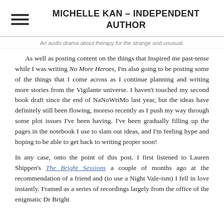MICHELLE KAN – INDEPENDENT AUTHOR
An audio drama about therapy for the strange and unusual.
As well as posting content on the things that Inspired me past-tense while I was writing No More Heroes, I'm also going to be posting some of the things that I come across as I continue planning and writing more stories from the Vigilante universe. I haven't touched my second book draft since the end of NaNoWriMo last year, but the ideas have definitely still been flowing, moreso recently as I push my way through some plot issues I've been having. I've been gradually filling up the pages in the notebook I use to slam out ideas, and I'm feeling hype and hoping to be able to get back to writing proper soon!
In any case, onto the point of this post. I first listened to Lauren Shippen's The Bright Sessions a couple of months ago at the recommendation of a friend and (to use a Night Vale-ism) I fell in love instantly. Framed as a series of recordings largely from the office of the enigmatic Dr Bright